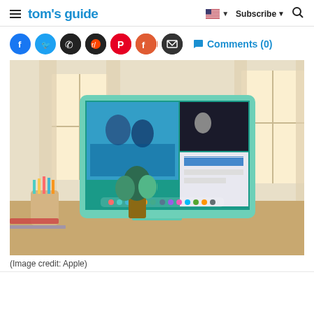tom's guide  |  Subscribe  |  [search]
[Figure (infographic): Row of social sharing icons: Facebook (blue), Twitter (blue), WhatsApp (dark), Reddit (dark), Pinterest (red), Flipboard (orange-red), Email (dark); followed by Comments (0) link with speech bubble icon]
[Figure (photo): Apple iMac with green/mint color on a wooden desk in a bright room with curtains. The screen shows multiple open windows including what appears to be a video call and other apps. Pencils in a cup are visible beside the iMac.]
(Image credit: Apple)